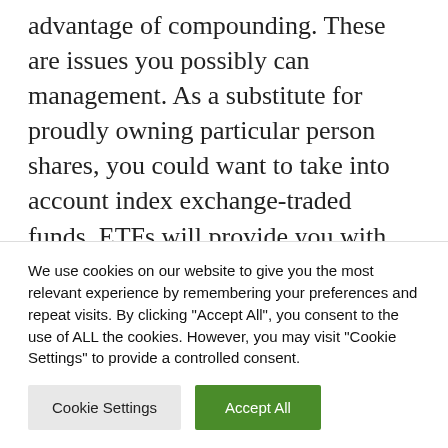advantage of compounding. These are issues you possibly can management. As a substitute for proudly owning particular person shares, you could want to take into account index exchange-traded funds. ETFs will provide you with instantaneous diversification and assist to restrict the remorse and anxiousness that some traders expertise when a person firm they personal falls in value.
We use cookies on our website to give you the most relevant experience by remembering your preferences and repeat visits. By clicking "Accept All", you consent to the use of ALL the cookies. However, you may visit "Cookie Settings" to provide a controlled consent.